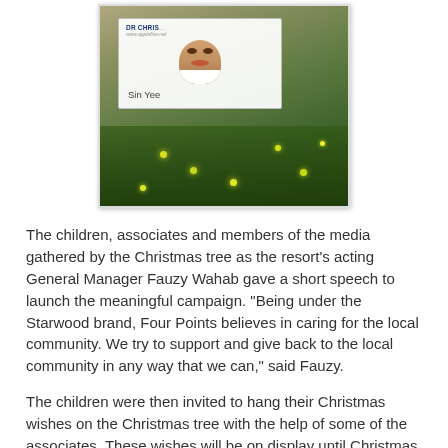[Figure (photo): Photo of a child's ID card or name tag reading 'Sin Yee' with text 'DR CHRIS...' and 'www.applefise.net' visible at top, surrounded by green foliage and yellow-green lights in background.]
The children, associates and members of the media gathered by the Christmas tree as the resort's acting General Manager Fauzy Wahab gave a short speech to launch the meaningful campaign. “Being under the Starwood brand, Four Points believes in caring for the local community. We try to support and give back to the local community in any way that we can,” said Fauzy.
The children were then invited to hang their Christmas wishes on the Christmas tree with the help of some of the associates. These wishes will be on display until Christmas